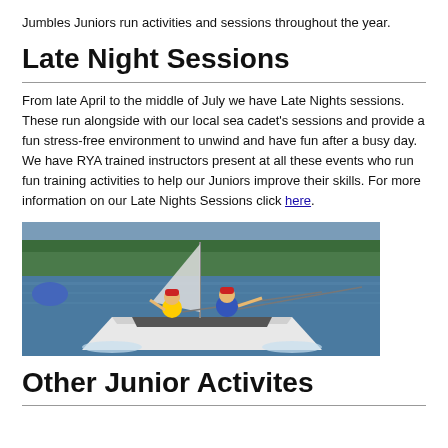Jumbles Juniors run activities and sessions throughout the year.
Late Night Sessions
From late April to the middle of July we have Late Nights sessions. These run alongside with our local sea cadet's sessions and provide a fun stress-free environment to unwind and have fun after a busy day. We have RYA trained instructors present at all these events who run fun training activities to help our Juniors improve their skills. For more information on our Late Nights Sessions click here.
[Figure (photo): Two young people in life jackets and red caps sailing a white dinghy on a lake with trees in the background.]
Other Junior Activites